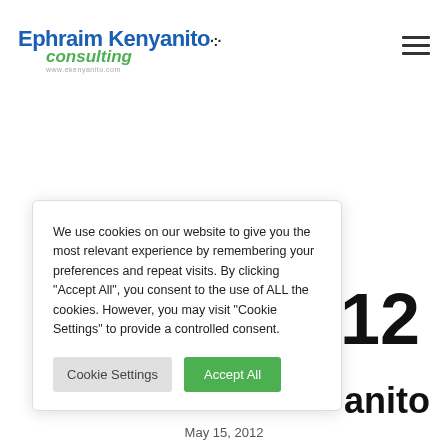[Figure (logo): Ephraim Kenyanito Consulting logo with blue text, green italic 'consulting', dots, and website url www.ekenyanito.com]
We use cookies on our website to give you the most relevant experience by remembering your preferences and repeat visits. By clicking "Accept All", you consent to the use of ALL the cookies. However, you may visit "Cookie Settings" to provide a controlled consent.
Cookie Settings   Accept All
012
anito
May 15, 2012